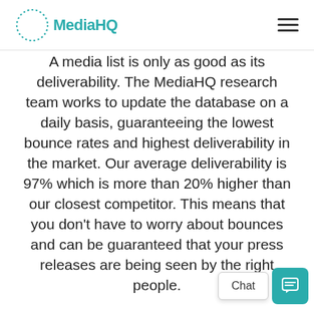MediaHQ
A media list is only as good as its deliverability. The MediaHQ research team works to update the database on a daily basis, guaranteeing the lowest bounce rates and highest deliverability in the market. Our average deliverability is 97% which is more than 20% higher than our closest competitor. This means that you don't have to worry about bounces and can be guaranteed that your press releases are being seen by the right people.